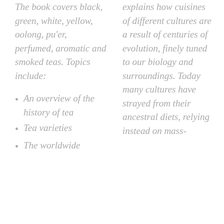The book covers black, green, white, yellow, oolong, pu'er, perfumed, aromatic and smoked teas. Topics include:
An overview of the history of tea
Tea varieties
The worldwide
explains how cuisines of different cultures are a result of centuries of evolution, finely tuned to our biology and surroundings. Today many cultures have strayed from their ancestral diets, relying instead on mass-